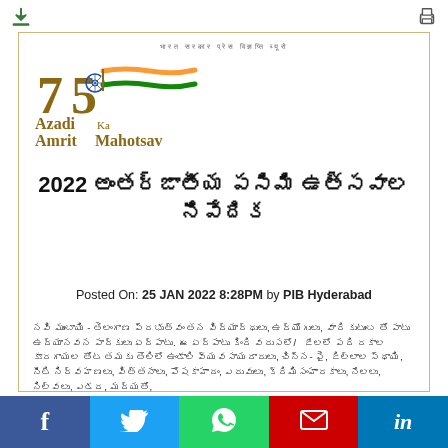भारत सरकार press information bureau
[Figure (logo): Azadi Ka Amrit Mahotsav - 75 years of India Independence logo with Indian flag colors]
2022 అంతర్జాతీయ పసిమి ఉత్సవాల నివేదిక
Posted On: 25 JAN 2022 8:28PM by PIB Hyderabad
నవి ముంబాయి - తెలంగాణ ప్రభుత్వం తన విద్యార్థులు, ఉద్యోగులు, వారి కుటుంబ తో పాటు ఉద్యానవన పార్కులు ఏర్పాటు. ఈ ఏర్పాటు కింది వరుసలో/ జేలలో పది రకాల కూరగాయల తోట తమకు తొలిలో ఉండాలి వ్యవసాయదారులు, చిన్న- పై, జిల్లాల స్థాయి, నీటి నిర్వహణలు, విత్తనాలు, పోషకాహారం, ఎరువులు, క్రిమిసంహారకాలు, నేలలు, నిల్వలు, ఎడద, మద్యతో,